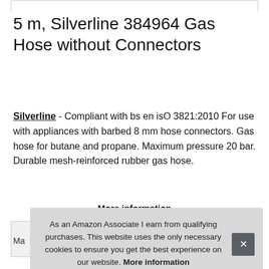5 m, Silverline 384964 Gas Hose without Connectors
Silverline - Compliant with bs en isO 3821:2010 For use with appliances with barbed 8 mm hose connectors. Gas hose for butane and propane. Maximum pressure 20 bar. Durable mesh-reinforced rubber gas hose.
More information
As an Amazon Associate I earn from qualifying purchases. This website uses the only necessary cookies to ensure you get the best experience on our website. More information